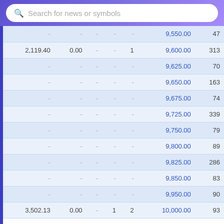[Figure (screenshot): Search bar with purple gradient background and rounded white input field with 'Search for news or symbols' placeholder text]
| Col1 | Col2 | Col3 | Col4 | Col5 | Price | Vol |
| --- | --- | --- | --- | --- | --- | --- |
| - | - | - | - | - | 9,550.00 | 47 |
| 2,119.40 | 0.00 | - | - | 1 | 9,600.00 | 313 |
| - | - | - | - | - | 9,625.00 | 70 |
| - | - | - | - | - | 9,650.00 | 163 |
| - | - | - | - | - | 9,675.00 | 74 |
| - | - | - | - | - | 9,725.00 | 339 |
| - | - | - | - | - | 9,750.00 | 79 |
| - | - | - | - | - | 9,800.00 | 89 |
| - | - | - | - | - | 9,825.00 | 286 |
| - | - | - | - | - | 9,850.00 | 83 |
| - | - | - | - | - | 9,950.00 | 90 |
| 3,502.13 | 0.00 | - | 1 | 2 | 10,000.00 | 93 |